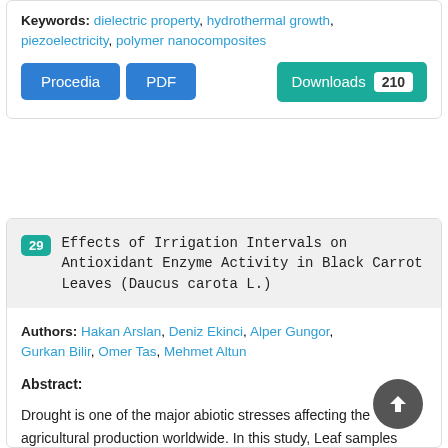Keywords: dielectric property, hydrothermal growth, piezoelectricity, polymer nanocomposites
Procedia | PDF | Downloads 210
29 Effects of Irrigation Intervals on Antioxidant Enzyme Activity in Black Carrot Leaves (Daucus carota L.)
Authors: Hakan Arslan, Deniz Ekinci, Alper Gungor, Gurkan Bilir, Omer Tas, Mehmet Altun
Abstract:
Drought is one of the major abiotic stresses affecting the agricultural production worldwide. In this study, Leaf samples were taken from the carrot plants grown under drought stress conditions during the harvesting period. The plants were irrigated in three irrigation